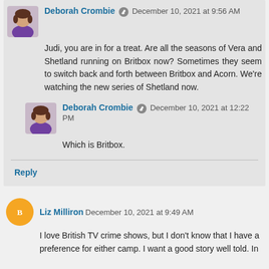Deborah Crombie · December 10, 2021 at 9:56 AM
Judi, you are in for a treat. Are all the seasons of Vera and Shetland running on Britbox now? Sometimes they seem to switch back and forth between Britbox and Acorn. We're watching the new series of Shetland now.
Deborah Crombie · December 10, 2021 at 12:22 PM
Which is Britbox.
Reply
Liz Milliron · December 10, 2021 at 9:49 AM
I love British TV crime shows, but I don't know that I have a preference for either camp. I want a good story well told. In